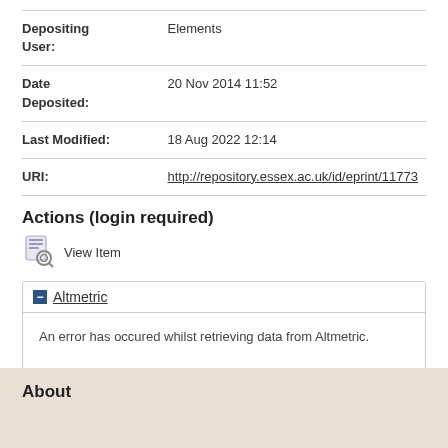| Field | Value |
| --- | --- |
| Depositing User: | Elements |
| Date Deposited: | 20 Nov 2014 11:52 |
| Last Modified: | 18 Aug 2022 12:14 |
| URI: | http://repository.essex.ac.uk/id/eprint/11773 |
Actions (login required)
View Item
Altmetric
An error has occured whilst retrieving data from Altmetric.
About